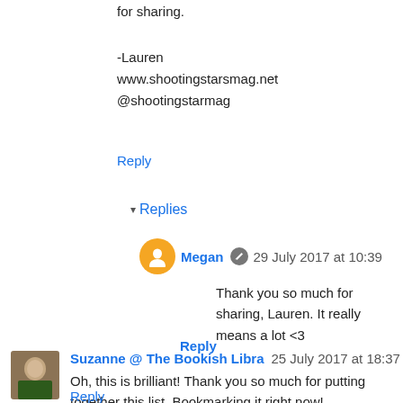for sharing.
-Lauren
www.shootingstarsmag.net
@shootingstarmag
Reply
▾ Replies
Megan  29 July 2017 at 10:39
Thank you so much for sharing, Lauren. It really means a lot <3
Reply
Suzanne @ The Bookish Libra  25 July 2017 at 18:37
Oh, this is brilliant! Thank you so much for putting together this list. Bookmarking it right now!
Reply